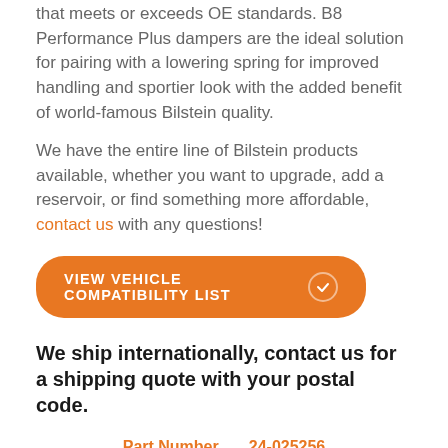that meets or exceeds OE standards. B8 Performance Plus dampers are the ideal solution for pairing with a lowering spring for improved handling and sportier look with the added benefit of world-famous Bilstein quality.
We have the entire line of Bilstein products available, whether you want to upgrade, add a reservoir, or find something more affordable, contact us with any questions!
[Figure (other): Orange rounded button with text VIEW VEHICLE COMPATIBILITY LIST and a checkmark circle icon]
We ship internationally, contact us for a shipping quote with your postal code.
| Part Number | 24-025256 |
| Extended Length | 19.490" |